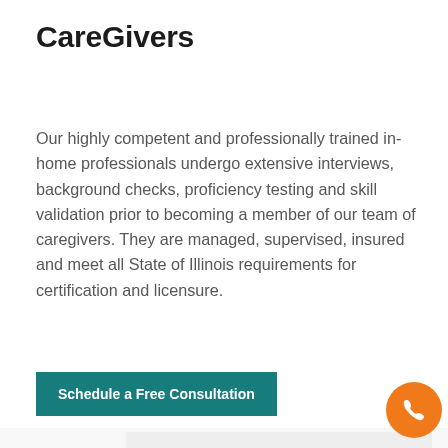CareGivers
Our highly competent and professionally trained in-home professionals undergo extensive interviews, background checks, proficiency testing and skill validation prior to becoming a member of our team of caregivers. They are managed, supervised, insured and meet all State of Illinois requirements for certification and licensure.
Schedule a Free Consultation
[Figure (photo): Partial view of a card/image panel with a circular placeholder icon, partially visible at the bottom of the page. An orange phone button is visible in the lower right corner.]